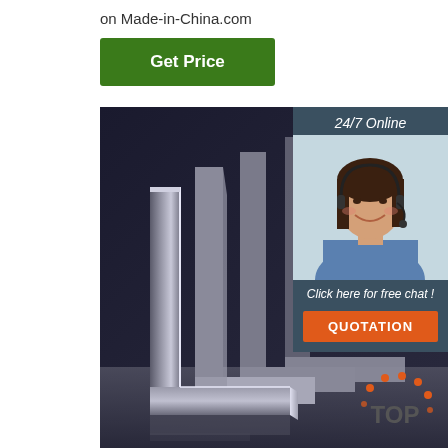on Made-in-China.com
Get Price
[Figure (photo): Multiple L-shaped steel angle bars stacked together on a dark background, showing metallic silver finish]
24/7 Online
[Figure (photo): Female customer service agent wearing a headset, smiling, in a blue shirt]
Click here for free chat !
QUOTATION
[Figure (logo): TOP badge logo with orange dots arranged in a circle around the word TOP]